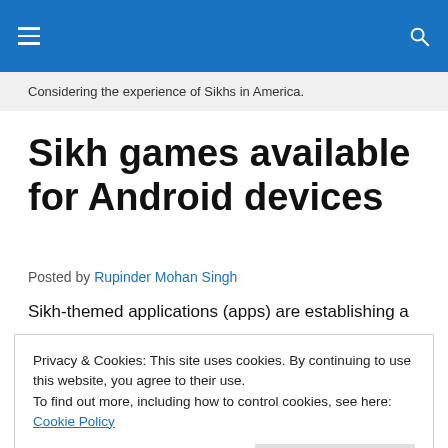Considering the experience of Sikhs in America.
Sikh games available for Android devices
Posted by Rupinder Mohan Singh
Sikh-themed applications (apps) are establishing a
Privacy & Cookies: This site uses cookies. By continuing to use this website, you agree to their use.
To find out more, including how to control cookies, see here: Cookie Policy
Close and accept